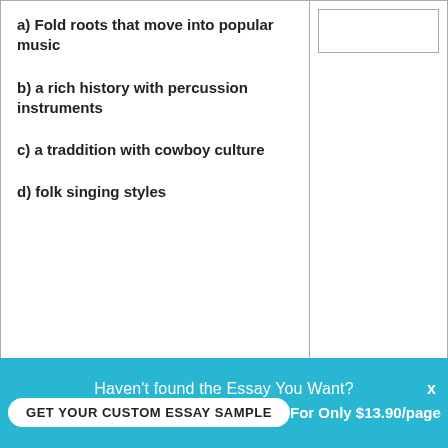a) Fold roots that move into popular music
b) a rich history with percussion instruments
c) a traddition with cowboy culture
d) folk singing styles
b) son
Haven't found the Essay You Want?
GET YOUR CUSTOM ESSAY SAMPLE
For Only $13.90/page